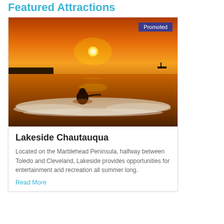Featured Attractions
[Figure (photo): Silhouette of a person wading in shallow water at sunset with orange sky and calm lake/ocean in background. 'Promoted' badge in upper right corner.]
Lakeside Chautauqua
Located on the Marblehead Peninsula, halfway between Toledo and Cleveland, Lakeside provides opportunities for entertainment and recreation all summer long.
Read More